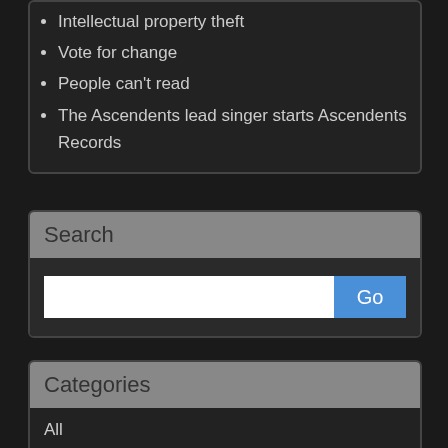Intellectual property theft
Vote for change
People can't read
The Ascendents lead singer starts Ascendents Records
Search
Search input box with Go button
Categories
All
Ascendents
Music
Artists
Events
Music Industry
New Releases
Pro Audio